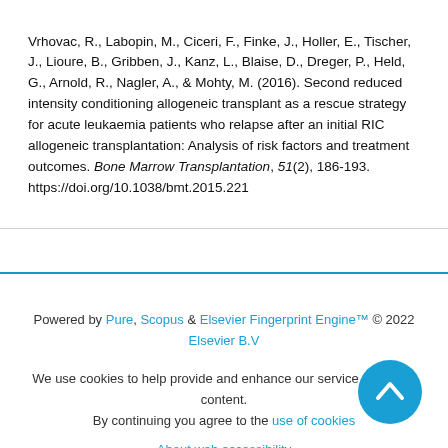Vrhovac, R., Labopin, M., Ciceri, F., Finke, J., Holler, E., Tischer, J., Lioure, B., Gribben, J., Kanz, L., Blaise, D., Dreger, P., Held, G., Arnold, R., Nagler, A., & Mohty, M. (2016). Second reduced intensity conditioning allogeneic transplant as a rescue strategy for acute leukaemia patients who relapse after an initial RIC allogeneic transplantation: Analysis of risk factors and treatment outcomes. Bone Marrow Transplantation, 51(2), 186-193. https://doi.org/10.1038/bmt.2015.221
Powered by Pure, Scopus & Elsevier Fingerprint Engine™ © 2022 Elsevier B.V
We use cookies to help provide and enhance our service and tailor content. By continuing you agree to the use of cookies
About web accessibility